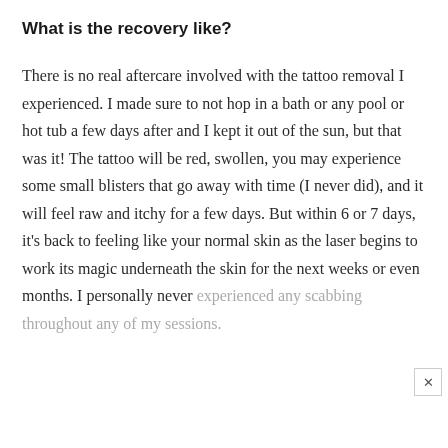What is the recovery like?
There is no real aftercare involved with the tattoo removal I experienced. I made sure to not hop in a bath or any pool or hot tub a few days after and I kept it out of the sun, but that was it! The tattoo will be red, swollen, you may experience some small blisters that go away with time (I never did), and it will feel raw and itchy for a few days. But within 6 or 7 days, it's back to feeling like your normal skin as the laser begins to work its magic underneath the skin for the next weeks or even months. I personally never experienced any scabbing throughout any of my sessions.